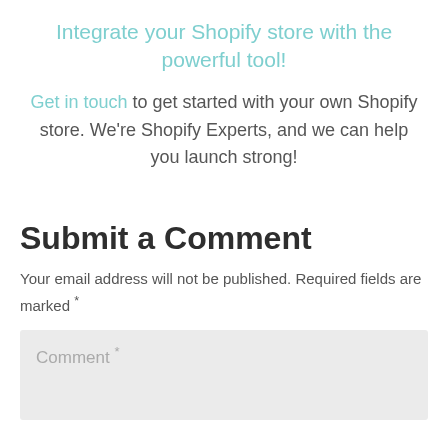Integrate your Shopify store with the powerful tool!
Get in touch to get started with your own Shopify store. We're Shopify Experts, and we can help you launch strong!
Submit a Comment
Your email address will not be published. Required fields are marked *
Comment *